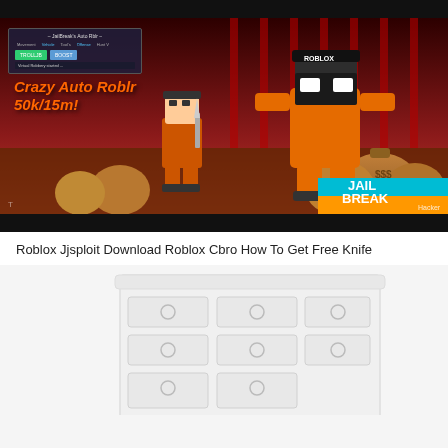[Figure (screenshot): Roblox Jailbreak game screenshot with hack UI overlay showing TROLLJB and BOOST buttons, characters in orange prison uniforms, red windowed room, money bags on floor, and JailBreak logo at bottom right]
Roblox Jjsploit Download Roblox Cbro How To Get Free Knife
[Figure (screenshot): White dresser/chest of drawers with circular drawer handles, partially cropped, against white background]